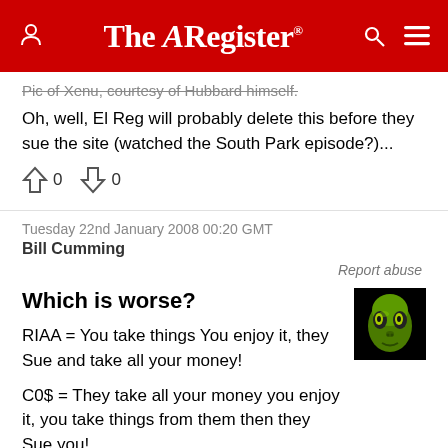The Register
Pic of Xenu, courtesy of Hubbard himself.
Oh, well, El Reg will probably delete this before they sue the site (watched the South Park episode?)...
0  0
Tuesday 22nd January 2008 00:20 GMT
Bill Cumming
Report abuse
Which is worse?
[Figure (photo): Alien/Xenu avatar icon with green alien face on black background]
RIAA = You take things You enjoy it, they Sue and take all your money!
C0$ = They take all your money you enjoy it, you take things from them then they Sue you!
Xenu icon cause it looks like Cruse....